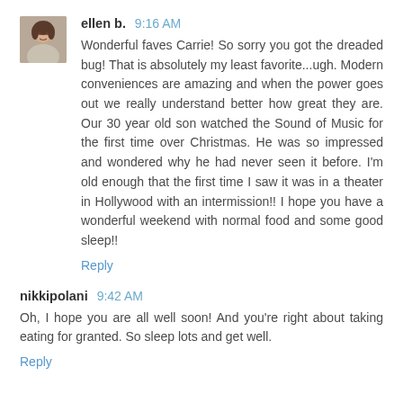[Figure (photo): Avatar photo of ellen b., a woman with short dark hair]
ellen b. 9:16 AM
Wonderful faves Carrie! So sorry you got the dreaded bug! That is absolutely my least favorite...ugh. Modern conveniences are amazing and when the power goes out we really understand better how great they are. Our 30 year old son watched the Sound of Music for the first time over Christmas. He was so impressed and wondered why he had never seen it before. I'm old enough that the first time I saw it was in a theater in Hollywood with an intermission!! I hope you have a wonderful weekend with normal food and some good sleep!!
Reply
nikkipolani 9:42 AM
Oh, I hope you are all well soon! And you're right about taking eating for granted. So sleep lots and get well.
Reply